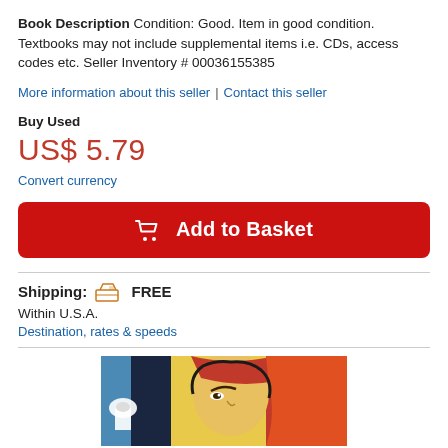Book Description Condition: Good. Item in good condition. Textbooks may not include supplemental items i.e. CDs, access codes etc. Seller Inventory # 00036155385
More information about this seller | Contact this seller
Buy Used
US$ 5.79
Convert currency
Add to Basket
Shipping: FREE
Within U.S.A.
Destination, rates & speeds
[Figure (photo): Book cover image showing a stylized Indian figure with ornate jewelry and headdress against a colorful background with a white domed building visible on the left.]